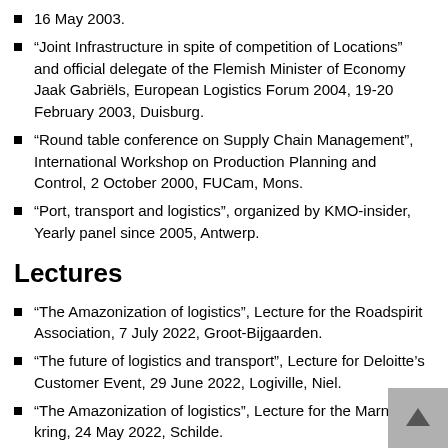16 May 2003.
“Joint Infrastructure in spite of competition of Locations” and official delegate of the Flemish Minister of Economy Jaak Gabriëls, European Logistics Forum 2004, 19-20 February 2003, Duisburg.
“Round table conference on Supply Chain Management”, International Workshop on Production Planning and Control, 2 October 2000, FUCam, Mons.
“Port, transport and logistics”, organized by KMO-insider, Yearly panel since 2005, Antwerp.
Lectures
“The Amazonization of logistics”, Lecture for the Roadspirit Association, 7 July 2022, Groot-Bijgaarden.
“The future of logistics and transport”, Lecture for Deloitte’s Customer Event, 29 June 2022, Logiville, Niel.
“The Amazonization of logistics”, Lecture for the Marnix kring, 24 May 2022, Schilde.
“The Amazonization of logistics”, Lecture for Nuances in Facility Management, 16 May 2022, Duffel.